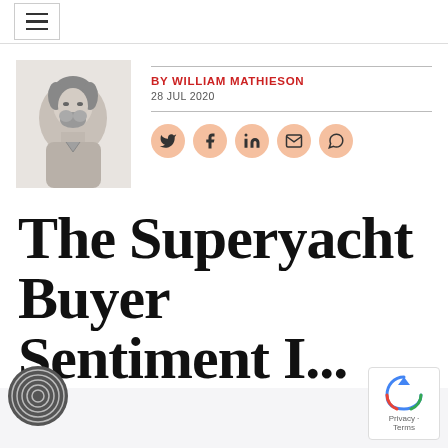BY WILLIAM MATHIESON
28 JUL 2020
[Figure (other): Social sharing icons: Twitter, Facebook, LinkedIn, Email, WhatsApp]
The Superyacht Buyer Sentiment I...